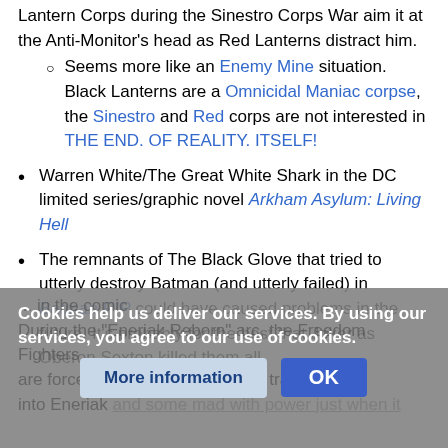Lantern Corps during the Sinestro Corps War aim it at the Anti-Monitor's head as Red Lanterns distract him.
Seems more like an Enemy Mine situation. Black Lanterns are a Omnicidal Maniac corpse, the Sinestro and Red corps are not interested in THE END. OF REALITY. ITSELF!
Warren White/The Great White Shark in the DC limited series/graphic novel Arkham Asylum: Living Hell
The remnants of The Black Glove that tried to utterly destroy Batman (and utterly failed) in Batman RIP could have caused problems in the future. It's probably for the best that Joker as Oberon Sexton killed them all.
Cookies help us deliver our services. By using our services, you agree to our use of cookies.